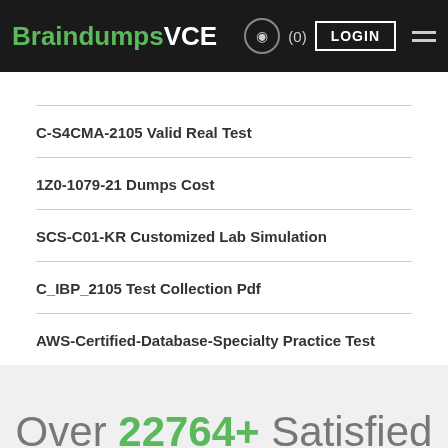BraindumpsVCE LOGIN (0)
C-S4CMA-2105 Valid Real Test
1Z0-1079-21 Dumps Cost
SCS-C01-KR Customized Lab Simulation
C_IBP_2105 Test Collection Pdf
AWS-Certified-Database-Specialty Practice Test
Over 22764+ Satisfied Customers